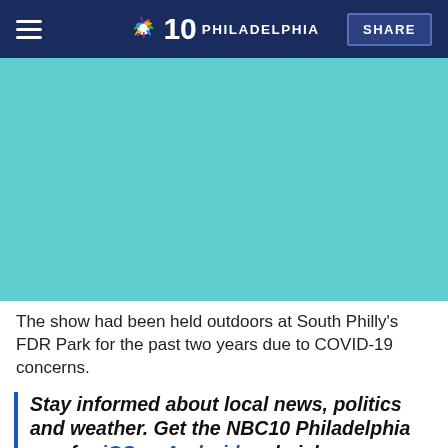NBC10 PHILADELPHIA | SHARE
[Figure (photo): Teal/turquoise colored image placeholder, representing a photo related to the article about a show held at South Philly's FDR Park.]
The show had been held outdoors at South Philly's FDR Park for the past two years due to COVID-19 concerns.
Stay informed about local news, politics and weather. Get the NBC10 Philadelphia app for iOS or Android and pick your alerts.